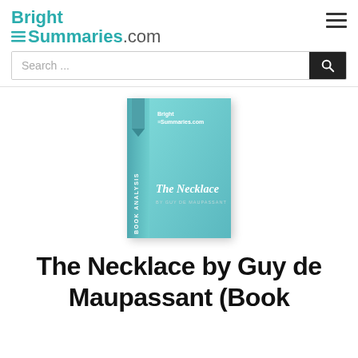BrightSummaries.com
[Figure (logo): BrightSummaries.com website logo with teal text and hamburger menu icon]
[Figure (screenshot): Search bar with placeholder text 'Search ...' and a dark search button with magnifier icon]
[Figure (illustration): Book cover for 'The Necklace by Guy de Maupassant' – BrightSummaries.com Book Analysis. Teal/aqua gradient cover with a bookmark ribbon and the title in white/gray text.]
The Necklace by Guy de Maupassant (Book